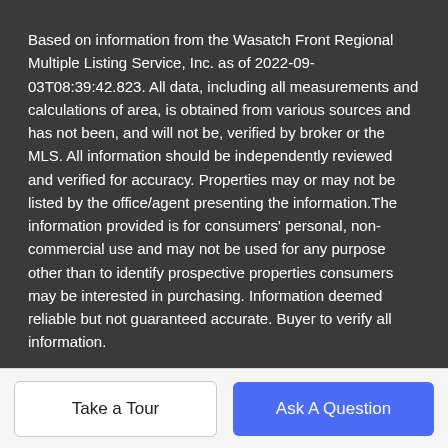Based on information from the Wasatch Front Regional Multiple Listing Service, Inc. as of 2022-09-03T08:39:42.823. All data, including all measurements and calculations of area, is obtained from various sources and has not been, and will not be, verified by broker or the MLS. All information should be independently reviewed and verified for accuracy. Properties may or may not be listed by the office/agent presenting the information.The information provided is for consumers' personal, non-commercial use and may not be used for any purpose other than to identify prospective properties consumers may be interested in purchasing. Information deemed reliable but not guaranteed accurate. Buyer to verify all information.
©2021 BHH Affiliates, LLC. An independently owned and operated franchisee of BHH Affiliates, LLC. Berkshire Hathaway HomeServices and the Berkshire Hathaway HomeServices symbol
Take a Tour
Ask A Question